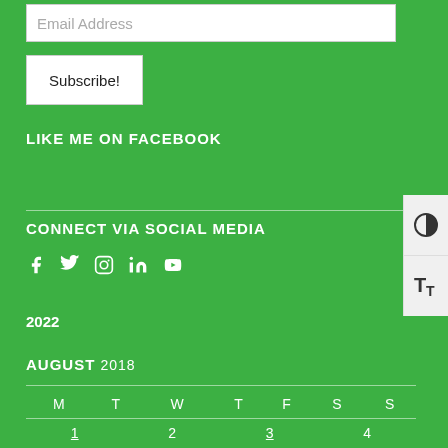Email Address
Subscribe!
LIKE ME ON FACEBOOK
CONNECT VIA SOCIAL MEDIA
[Figure (infographic): Social media icons: Facebook, Twitter, Instagram, LinkedIn, YouTube]
2022
AUGUST 2018
| M | T | W | T | F | S | S |
| --- | --- | --- | --- | --- | --- | --- |
|  | 1 | 2 | 3 | 4 | 5 |